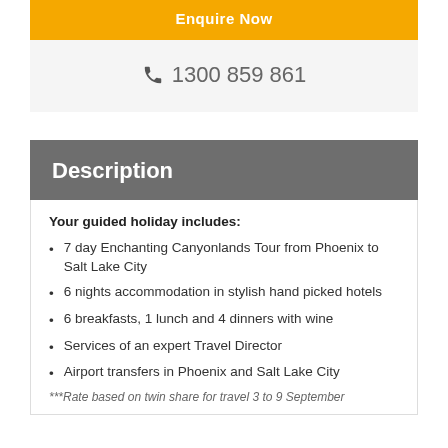[Figure (other): Yellow 'Enquire Now' button]
1300 859 861
Description
Your guided holiday includes:
7 day Enchanting Canyonlands Tour from Phoenix to Salt Lake City
6 nights accommodation in stylish hand picked hotels
6 breakfasts, 1 lunch and 4 dinners with wine
Services of an expert Travel Director
Airport transfers in Phoenix and Salt Lake City
***Rate based on twin share for travel 3 to 9 September